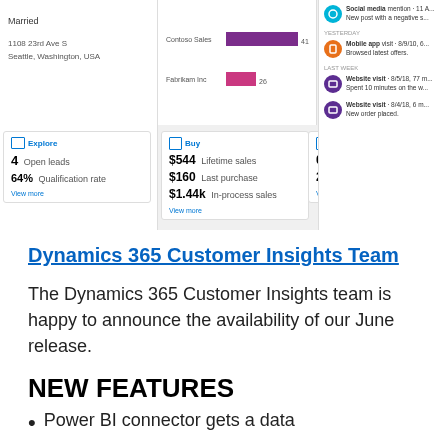[Figure (screenshot): Dynamics 365 Customer Insights dashboard screenshot showing customer profile with Married status, address (1108 23rd Ave S, Seattle, Washington, USA), a bar chart comparing Contoso Sales (purple) vs Fabrikam Inc (pink), Explore panel (4 Open leads, 64% Qualification rate), Buy panel ($544 Lifetime sales, $160 Last purchase, $1.44k In-process sales), Service panel (0 Escalated cases, 2 High-priority cases), and a right-side activity feed with Social media mention, Mobile app visit, Website visits.]
Dynamics 365 Customer Insights Team
The Dynamics 365 Customer Insights team is happy to announce the availability of our June release.
NEW FEATURES
Power BI connector gets a data